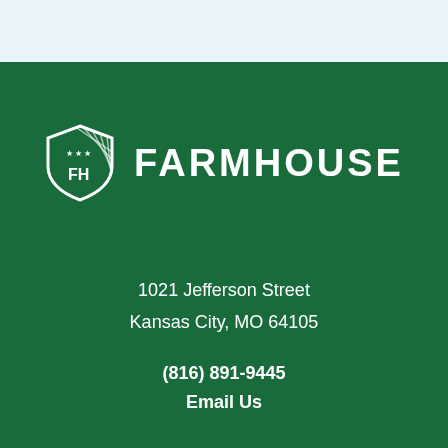[Figure (logo): FarmHouse logo: white shield with FH text and diagonal stripes and stars, followed by FARMHOUSE text in white bold uppercase]
1021 Jefferson Street
Kansas City, MO 64105
(816) 891-9445
Email Us